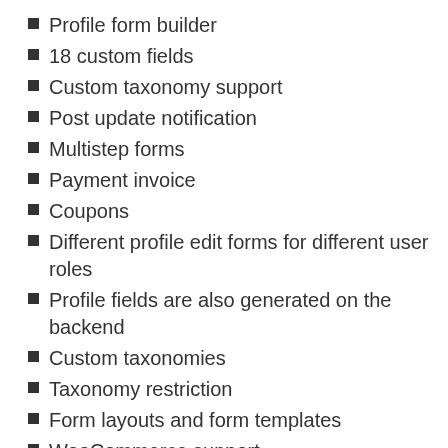Profile form builder
18 custom fields
Custom taxonomy support
Post update notification
Multistep forms
Payment invoice
Coupons
Different profile edit forms for different user roles
Profile fields are also generated on the backend
Custom taxonomies
Taxonomy restriction
Form layouts and form templates
WooCommerce support
Registration form builder
Assign new roles to forms
Captcha support
Update user profile information from frontend
Files & attachments upload